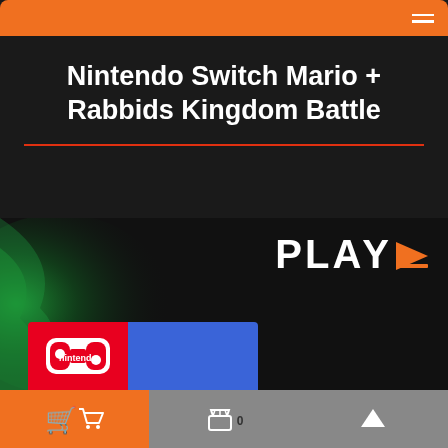Navigation bar (orange, top)
Nintendo Switch Mario + Rabbids Kingdom Battle
Home> Nintendo Switch > Nintendo Switch Mario + Rabbids Kingdom Battle
[Figure (screenshot): Product image area showing Play-B logo with orange play arrow on black background with green smoke effect, and Nintendo Switch game box partially visible at bottom]
Bottom navigation bar with shopping cart icon, basket with 0 count, and up arrow